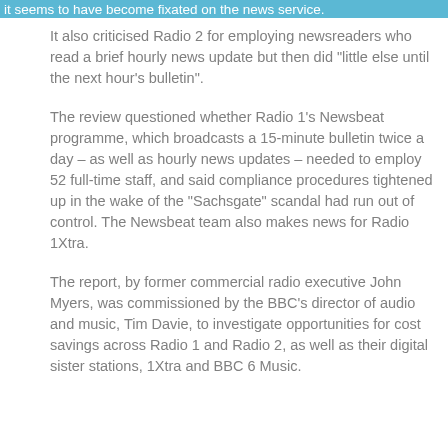it seems to have become fixated on the news service.
It also criticised Radio 2 for employing newsreaders who read a brief hourly news update but then did "little else until the next hour's bulletin".
The review questioned whether Radio 1's Newsbeat programme, which broadcasts a 15-minute bulletin twice a day – as well as hourly news updates – needed to employ 52 full-time staff, and said compliance procedures tightened up in the wake of the "Sachsgate" scandal had run out of control. The Newsbeat team also makes news for Radio 1Xtra.
The report, by former commercial radio executive John Myers, was commissioned by the BBC's director of audio and music, Tim Davie, to investigate opportunities for cost savings across Radio 1 and Radio 2, as well as their digital sister stations, 1Xtra and BBC 6 Music.